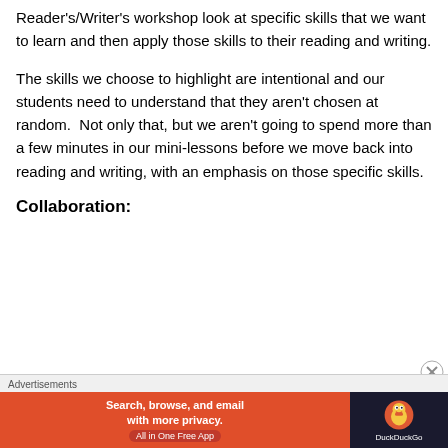Reader's/Writer's workshop look at specific skills that we want to learn and then apply those skills to their reading and writing.
The skills we choose to highlight are intentional and our students need to understand that they aren't chosen at random.  Not only that, but we aren't going to spend more than a few minutes in our mini-lessons before we move back into reading and writing, with an emphasis on those specific skills.
Collaboration:
[Figure (screenshot): Advertisement banner: DuckDuckGo app ad. Orange section with text 'Search, browse, and email with more privacy. All in One Free App' and dark section with DuckDuckGo logo.]